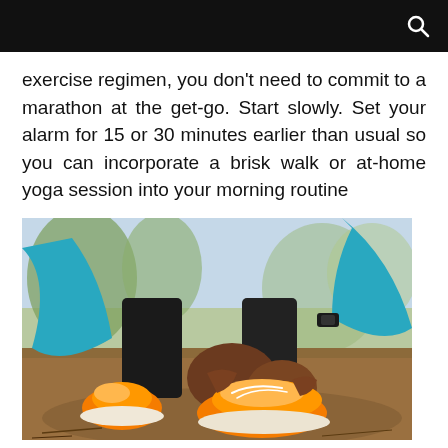exercise regimen, you don't need to commit to a marathon at the get-go. Start slowly. Set your alarm for 15 or 30 minutes earlier than usual so you can incorporate a brisk walk or at-home yoga session into your morning routine
[Figure (photo): Person wearing teal athletic wear and a fitness tracker crouching down to tie bright orange running shoes on a dirt trail outdoors.]